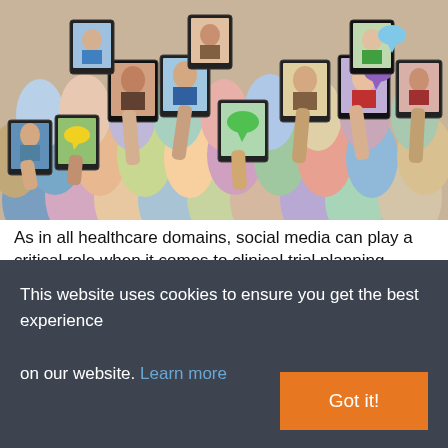[Figure (photo): A crowd of diverse people holding up tablet devices showing photos of faces, with colorful speech bubbles visible on some screens.]
As in all healthcare domains, social media can play a critical role when it comes to clinical trial planning, execution, and optimization.  There has been a huge increase in awareness of and engagement with clinical trials in the social sphere; in fact, according to data from health consumer insights firm Treato, over half of the 300,000 patient posts available online today about
This website uses cookies to ensure you get the best experience on our website. Learn more
Got it!